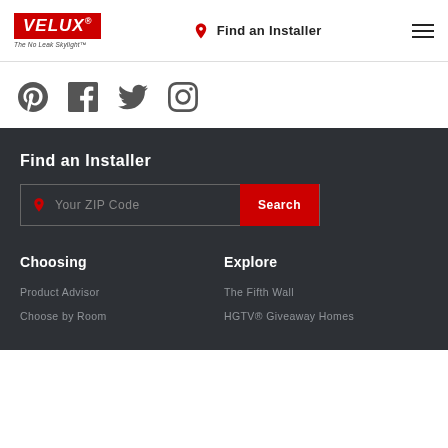[Figure (logo): VELUX logo in red box with tagline 'The No Leak Skylight']
Find an Installer
[Figure (infographic): Hamburger menu icon (three horizontal lines)]
[Figure (infographic): Social media icons: Pinterest, Facebook, Twitter, Instagram]
Find an Installer
Your ZIP Code
Search
Choosing
Explore
Product Advisor
Choose by Room
The Fifth Wall
HGTV® Giveaway Homes